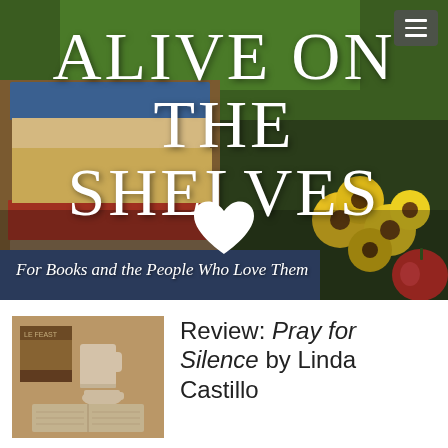[Figure (photo): Banner image of stacked books and yellow flowers with a dark background, overlaid with blog title text 'ALIVE ON THE SHELVES' and subtitle 'For Books and the People Who Love Them' and a white heart icon.]
ALIVE ON THE SHELVES
For Books and the People Who Love Them
[Figure (photo): Sepia-toned thumbnail photo of books, a mug, teacup, and open book on a table.]
Review: Pray for Silence by Linda Castillo